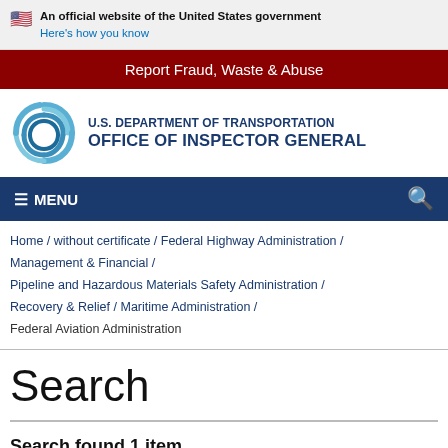An official website of the United States government
Here's how you know
Report Fraud, Waste & Abuse
[Figure (logo): U.S. Department of Transportation Office of Inspector General logo with circular swirl emblem]
≡ MENU
Home / without certificate / Federal Highway Administration / Management & Financial / Pipeline and Hazardous Materials Safety Administration / Recovery & Relief / Maritime Administration / Federal Aviation Administration
Search
Search found 1 item